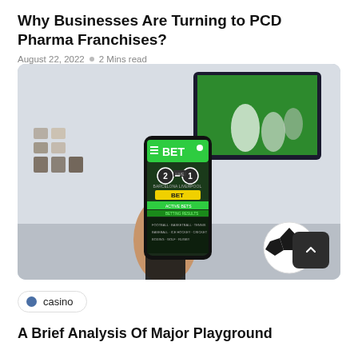Why Businesses Are Turning to PCD Pharma Franchises?
August 22, 2022  o  2 Mins read
[Figure (photo): Person holding a smartphone displaying a sports betting app showing Barcelona 2 - Liverpool 1 LIVE with a yellow BET button, soccer ball and TV in the background]
casino
A Brief Analysis Of Major Playground